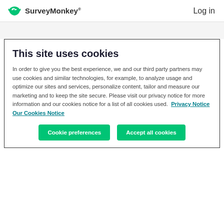SurveyMonkey   Log in
This site uses cookies
In order to give you the best experience, we and our third party partners may use cookies and similar technologies, for example, to analyze usage and optimize our sites and services, personalize content, tailor and measure our marketing and to keep the site secure. Please visit our privacy notice for more information and our cookies notice for a list of all cookies used.  Privacy Notice  Our Cookies Notice
Cookie preferences  Accept all cookies